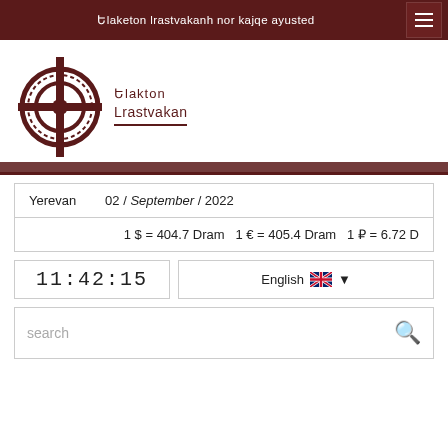Եlaketon lrastvakanhi nor kajqe ayusted
[Figure (logo): Elaket Lrastvakan logo with circular cross emblem and Armenian text]
Yerevan   02 / September / 2022
1 $ = 404.7 Dram  1 € = 405.4 Dram  1 ₽ = 6.72 D
11:42:15
English ▼
search